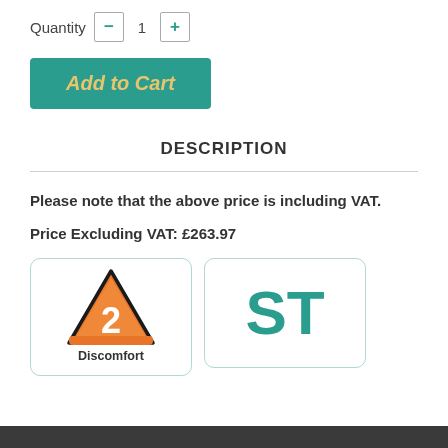Quantity  −  1  +
Add to Cart
DESCRIPTION
Please note that the above price is including VAT.
Price Excluding VAT: £263.97
[Figure (illustration): Orange warning triangle with number 2 inside, labeled Discomfort]
[Figure (illustration): Teal letters ST in a rounded rectangle box]